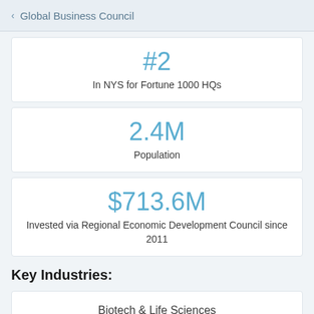Global Business Council
#2
In NYS for Fortune 1000 HQs
2.4M
Population
$713.6M
Invested via Regional Economic Development Council since 2011
Key Industries:
Biotech & Life Sciences